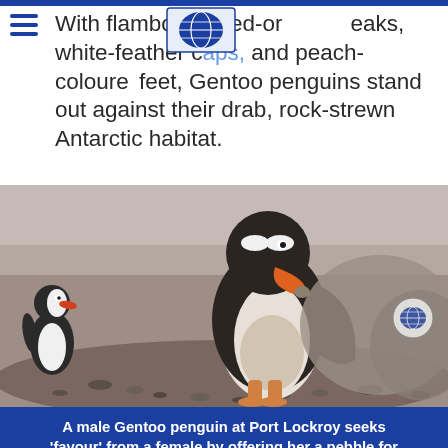With flamboyant red-orange beaks, white-feather caps, and peach-coloured feet, Gentoo penguins stand out against their drab, rock-strewn Antarctic habitat.
[Figure (photo): A male Gentoo penguin bending forward and holding a pebble in its orange beak, with another penguin visible at left, set against a rocky Antarctic landscape.]
A male Gentoo penguin at Port Lockroy seeks 'favour' from a female by offering her a pebble for